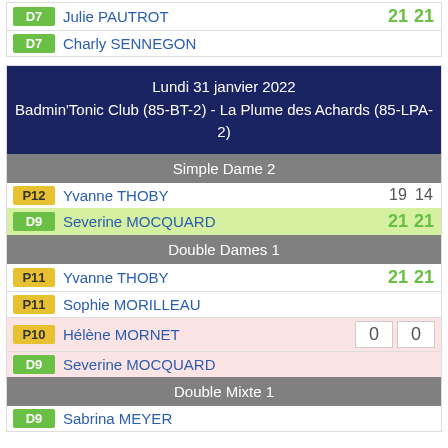| D7 | Julie PAUTROT | 21 | 21 |
| D7 | Charly SENNEGON |  |  |
Lundi 31 janvier 2022
Badmin'Tonic Club (85-BT-2) - La Plume des Achards (85-LPA-2)
Simple Dame 2
| P12 | Yvanne THOBY | 19 | 14 |
| D9 | Severine MOCQUARD | 21 | 21 |
Double Dames 1
| P11 | Yvanne THOBY | 21 | 21 |
| P11 | Sophie MORILLEAU |  |  |
| P10 | Hélène MORNET | 0 | 0 |
| D9 | Severine MOCQUARD |  |  |
Double Mixte 1
| D9 | Sabrina MEYER |  |  |